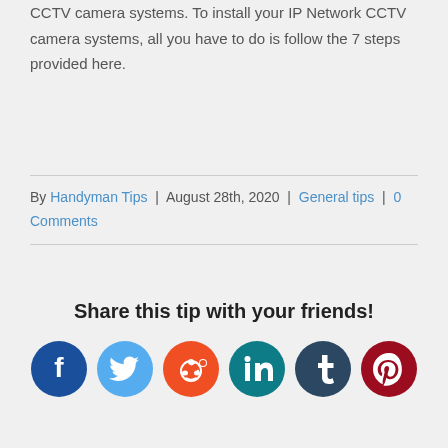CCTV camera systems. To install your IP Network CCTV camera systems, all you have to do is follow the 7 steps provided here.
By Handyman Tips | August 28th, 2020 | General tips | 0 Comments
Share this tip with your friends!
[Figure (infographic): Social media sharing icons: Facebook, Twitter, Reddit, LinkedIn, Tumblr, Pinterest, and an email icon partially visible at the bottom]